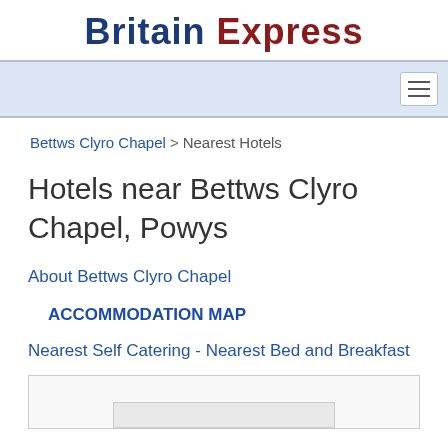Britain Express
Bettws Clyro Chapel > Nearest Hotels
Hotels near Bettws Clyro Chapel, Powys
About Bettws Clyro Chapel
ACCOMMODATION MAP
Nearest Self Catering - Nearest Bed and Breakfast